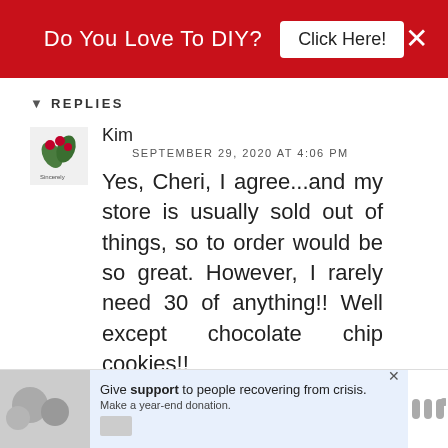Do You Love To DIY?  Click Here!
REPLIES
Kim
SEPTEMBER 29, 2020 AT 4:06 PM
Yes, Cheri, I agree...and my store is usually sold out of things, so to order would be so great. However, I rarely need 30 of anything!! Well except chocolate chip cookies!!
DELETE
Give support to people recovering from crisis. Make a year-end donation.